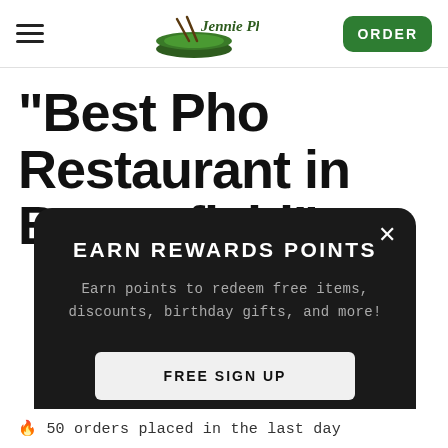Jennie Pho — navigation header with hamburger menu, logo, and ORDER button
"Best Pho Restaurant in Broomfield"
EARN REWARDS POINTS
Earn points to redeem free items, discounts, birthday gifts, and more!
FREE SIGN UP
🔥 50 orders placed in the last day